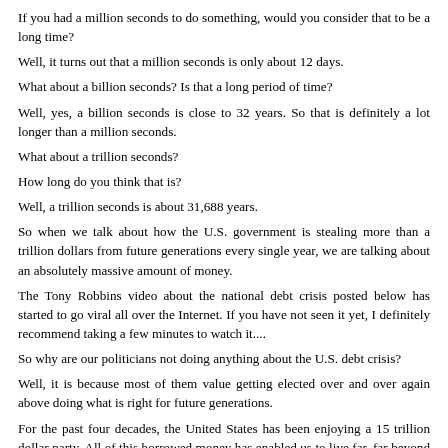If you had a million seconds to do something, would you consider that to be a long time?
Well, it turns out that a million seconds is only about 12 days.
What about a billion seconds? Is that a long period of time?
Well, yes, a billion seconds is close to 32 years. So that is definitely a lot longer than a million seconds.
What about a trillion seconds?
How long do you think that is?
Well, a trillion seconds is about 31,688 years.
So when we talk about how the U.S. government is stealing more than a trillion dollars from future generations every single year, we are talking about an absolutely massive amount of money.
The Tony Robbins video about the national debt crisis posted below has started to go viral all over the Internet. If you have not seen it yet, I definitely recommend taking a few minutes to watch it....
So why are our politicians not doing anything about the U.S. debt crisis?
Well, it is because most of them value getting elected over and over again above doing what is right for future generations.
For the past four decades, the United States has been enjoying a 15 trillion dollar party. All of this borrowed money has enabled us to live far, far beyond our means.
If our politicians voted to severely cut spending or to raise taxes dramatically at this point, our economy would suddenly readjust to a more realistic standard of living. But that would be extremely painful and most Americans voters would be absolutely furious. The would blame the...